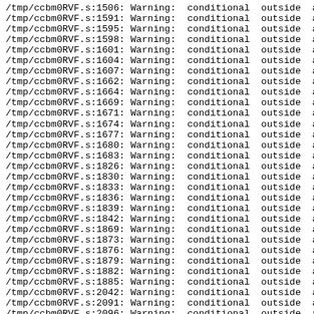/tmp/ccbm0RVF.s:1506: Warning: conditional outside an I
/tmp/ccbm0RVF.s:1591: Warning: conditional outside an I
/tmp/ccbm0RVF.s:1595: Warning: conditional outside an I
/tmp/ccbm0RVF.s:1598: Warning: conditional outside an I
/tmp/ccbm0RVF.s:1601: Warning: conditional outside an I
/tmp/ccbm0RVF.s:1604: Warning: conditional outside an I
/tmp/ccbm0RVF.s:1607: Warning: conditional outside an I
/tmp/ccbm0RVF.s:1662: Warning: conditional outside an I
/tmp/ccbm0RVF.s:1664: Warning: conditional outside an I
/tmp/ccbm0RVF.s:1669: Warning: conditional outside an I
/tmp/ccbm0RVF.s:1671: Warning: conditional outside an I
/tmp/ccbm0RVF.s:1674: Warning: conditional outside an I
/tmp/ccbm0RVF.s:1677: Warning: conditional outside an I
/tmp/ccbm0RVF.s:1680: Warning: conditional outside an I
/tmp/ccbm0RVF.s:1683: Warning: conditional outside an I
/tmp/ccbm0RVF.s:1826: Warning: conditional outside an I
/tmp/ccbm0RVF.s:1830: Warning: conditional outside an I
/tmp/ccbm0RVF.s:1833: Warning: conditional outside an I
/tmp/ccbm0RVF.s:1836: Warning: conditional outside an I
/tmp/ccbm0RVF.s:1839: Warning: conditional outside an I
/tmp/ccbm0RVF.s:1842: Warning: conditional outside an I
/tmp/ccbm0RVF.s:1869: Warning: conditional outside an I
/tmp/ccbm0RVF.s:1873: Warning: conditional outside an I
/tmp/ccbm0RVF.s:1876: Warning: conditional outside an I
/tmp/ccbm0RVF.s:1879: Warning: conditional outside an I
/tmp/ccbm0RVF.s:1882: Warning: conditional outside an I
/tmp/ccbm0RVF.s:1885: Warning: conditional outside an I
/tmp/ccbm0RVF.s:2042: Warning: conditional outside an I
/tmp/ccbm0RVF.s:2091: Warning: conditional outside an I
/tmp/ccbm0RVF.s:2096: Warning: conditional outside an I